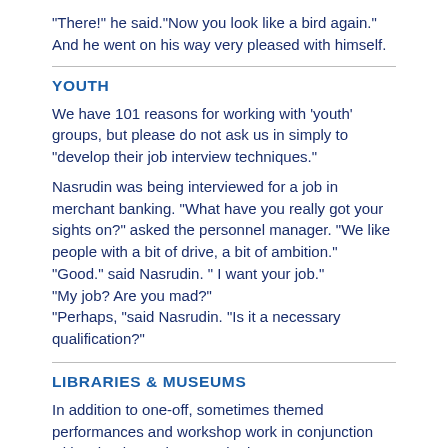“There!” he said.“Now you look like a bird again.”
And he went on his way very pleased with himself.
YOUTH
We have 101 reasons for working with ‘youth’ groups, but please do not ask us in simply to “develop their job interview techniques.”
Nasrudin was being interviewed for a job in merchant banking. “What have you really got your sights on?” asked the personnel manager. “We like people with a bit of drive, a bit of ambition.”
“Good.” said Nasrudin. “ I want your job.”
“My job? Are you mad?”
“Perhaps, ”said Nasrudin. “Is it a necessary qualification?”
LIBRARIES & MUSEUMS
In addition to one-off, sometimes themed performances and workshop work in conjunction with schools, we have worked